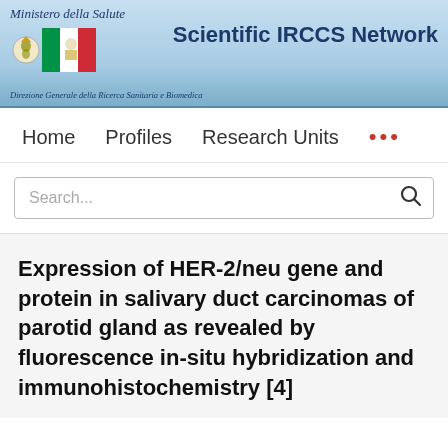[Figure (logo): Scientific IRCCS Network header banner with Italian Ministry of Health logo, Italian flag, and organization name]
Scientific IRCCS Network
Direzione Generale della Ricerca Sanitaria e Biomedica
Home   Profiles   Research Units   ...
Search...
Expression of HER-2/neu gene and protein in salivary duct carcinomas of parotid gland as revealed by fluorescence in-situ hybridization and immunohistochemistry [4]